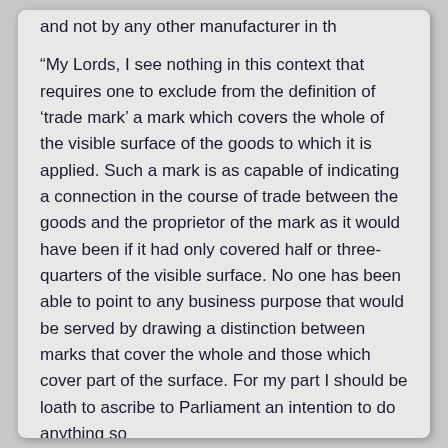and not by any other manufacturer in th
“My Lords, I see nothing in this context that requires one to exclude from the definition of ‘trade mark’ a mark which covers the whole of the visible surface of the goods to which it is applied. Such a mark is as capable of indicating a connection in the course of trade between the goods and the proprietor of the mark as it would have been if it had only covered half or three-quarters of the visible surface. No one has been able to point to any business purpose that would be served by drawing a distinction between marks that cover the whole and those which cover part of the surface. For my part I should be loath to ascribe to Parliament an intention to do anything so irrational.